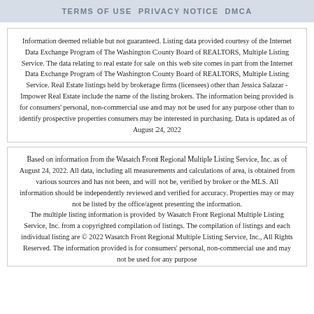TERMS OF USE PRIVACY NOTICE DMCA
Information deemed reliable but not guaranteed. Listing data provided courtesy of the Internet Data Exchange Program of The Washington County Board of REALTORS, Multiple Listing Service. The data relating to real estate for sale on this web site comes in part from the Internet Data Exchange Program of The Washington County Board of REALTORS, Multiple Listing Service. Real Estate listings held by brokerage firms (licensees) other than Jessica Salazar - Impower Real Estate include the name of the listing brokers. The information being provided is for consumers' personal, non-commercial use and may not be used for any purpose other than to identify prospective properties consumers may be interested in purchasing. Data is updated as of August 24, 2022
Based on information from the Wasatch Front Regional Multiple Listing Service, Inc. as of August 24, 2022. All data, including all measurements and calculations of area, is obtained from various sources and has not been, and will not be, verified by broker or the MLS. All information should be independently reviewed and verified for accuracy. Properties may or may not be listed by the office/agent presenting the information. The multiple listing information is provided by Wasatch Front Regional Multiple Listing Service, Inc. from a copyrighted compilation of listings. The compilation of listings and each individual listing are © 2022 Wasatch Front Regional Multiple Listing Service, Inc., All Rights Reserved. The information provided is for consumers' personal, non-commercial use and may not be used for any purpose